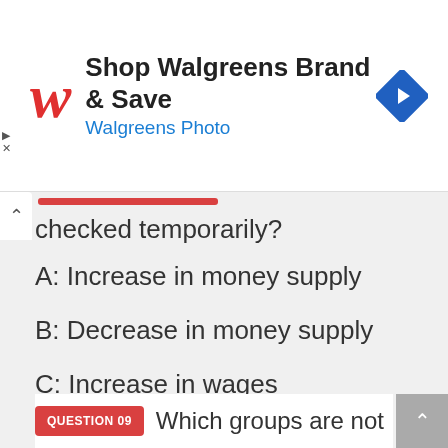[Figure (screenshot): Walgreens advertisement banner: red cursive W logo, 'Shop Walgreens Brand & Save' in bold, 'Walgreens Photo' in blue, blue diamond navigation icon on right]
checked temporarily?
A: Increase in money supply
B: Decrease in money supply
C: Increase in wages
D: Decrease in Tax
ANSWER :
[Figure (other): Black redacted/hidden answer block]
QUESTION 09   Which groups are not